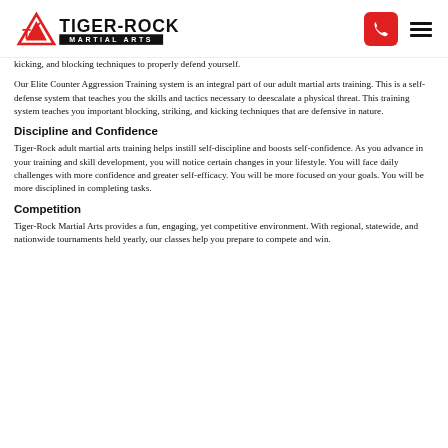Tiger-Rock Martial Arts [logo] [phone icon] [menu icon]
kicking, and blocking techniques to properly defend yourself.
Our Elite Counter Aggression Training system is an integral part of our adult martial arts training. This is a self-defense system that teaches you the skills and tactics necessary to deescalate a physical threat. This training system teaches you important blocking, striking, and kicking techniques that are defensive in nature.
Discipline and Confidence
Tiger-Rock adult martial arts training helps instill self-discipline and boosts self-confidence. As you advance in your training and skill development, you will notice certain changes in your lifestyle. You will face daily challenges with more confidence and greater self-efficacy. You will be more focused on your goals. You will be more disciplined in completing tasks.
Competition
Tiger-Rock Martial Arts provides a fun, engaging, yet competitive environment. With regional, statewide, and nationwide tournaments held yearly, our classes help you prepare to compete and win.